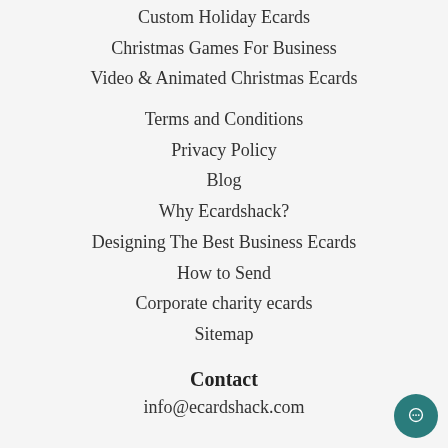Custom Holiday Ecards
Christmas Games For Business
Video & Animated Christmas Ecards
Terms and Conditions
Privacy Policy
Blog
Why Ecardshack?
Designing The Best Business Ecards
How to Send
Corporate charity ecards
Sitemap
Contact
info@ecardshack.com